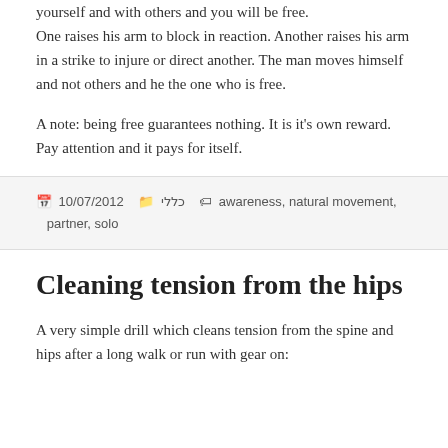yourself and with others and you will be free. One raises his arm to block in reaction. Another raises his arm in a strike to injure or direct another. The man moves himself and not others and he the one who is free.
A note: being free guarantees nothing. It is it's own reward. Pay attention and it pays for itself.
Posted 10/07/2012 Categories כללי Tags awareness, natural movement, partner, solo
Cleaning tension from the hips
A very simple drill which cleans tension from the spine and hips after a long walk or run with gear on: